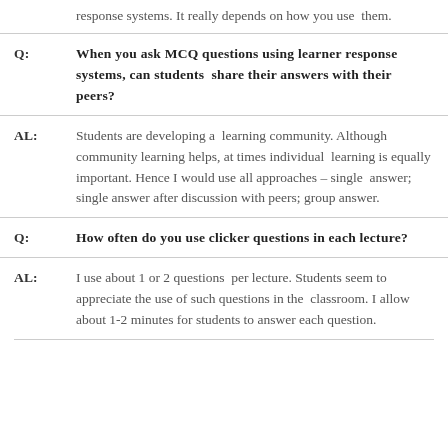response systems. It really depends on how you use them.
Q: When you ask MCQ questions using learner response systems, can students share their answers with their peers?
AL: Students are developing a learning community. Although community learning helps, at times individual learning is equally important. Hence I would use all approaches – single answer; single answer after discussion with peers; group answer.
Q: How often do you use clicker questions in each lecture?
AL: I use about 1 or 2 questions per lecture. Students seem to appreciate the use of such questions in the classroom. I allow about 1-2 minutes for students to answer each question.